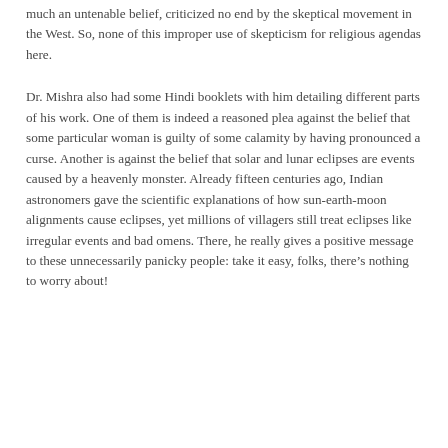much an untenable belief, criticized no end by the skeptical movement in the West. So, none of this improper use of skepticism for religious agendas here.
Dr. Mishra also had some Hindi booklets with him detailing different parts of his work. One of them is indeed a reasoned plea against the belief that some particular woman is guilty of some calamity by having pronounced a curse. Another is against the belief that solar and lunar eclipses are events caused by a heavenly monster. Already fifteen centuries ago, Indian astronomers gave the scientific explanations of how sun-earth-moon alignments cause eclipses, yet millions of villagers still treat eclipses like irregular events and bad omens. There, he really gives a positive message to these unnecessarily panicky people: take it easy, folks, there’s nothing to worry about!